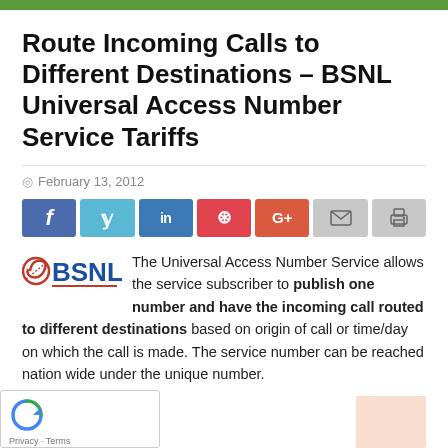Route Incoming Calls to Different Destinations – BSNL Universal Access Number Service Tariffs
February 13, 2012
[Figure (infographic): Social sharing buttons: Facebook, Twitter, LinkedIn, Pinterest, Google+, Email, Print]
The Universal Access Number Service allows the service subscriber to publish one number and have the incoming call routed to different destinations based on origin of call or time/day on which the call is made. The service number can be reached nation wide under the unique number.